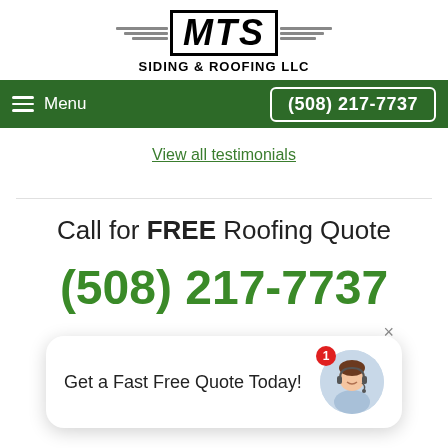[Figure (logo): MTS Siding & Roofing LLC logo with wing decorations flanking a bold italic MTS text in a bordered box, and 'SIDING & ROOFING LLC' subtitle below]
Menu | (508) 217-7737
View all testimonials
Call for FREE Roofing Quote
(508) 217-7737
Get a Fast Free Quote Today!